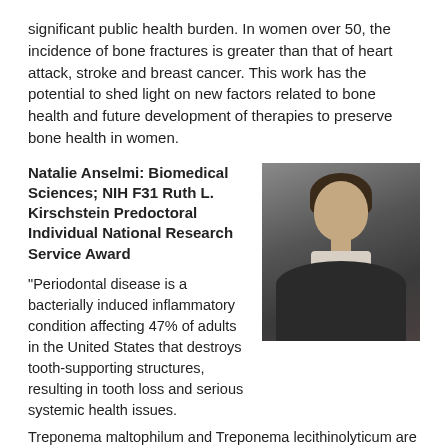significant public health burden. In women over 50, the incidence of bone fractures is greater than that of heart attack, stroke and breast cancer. This work has the potential to shed light on new factors related to bone health and future development of therapies to preserve bone health in women.
Natalie Anselmi: Biomedical Sciences; NIH F31 Ruth L. Kirschstein Predoctoral Individual National Research Service Award
[Figure (photo): Portrait photo of Natalie Anselmi, a young woman with long dark brown hair, wearing a dark blazer over a light-colored top, photographed against a dark gray background.]
"Periodontal disease is a bacterially induced inflammatory condition affecting 47% of adults in the United States that destroys tooth-supporting structures, resulting in tooth loss and serious systemic health issues. Treponema maltophilum and Treponema lecithinolyticum are two bacterial species abundant in the polymicrobial biofilm associated with severe periodontal disease that remain largely unstudied. A better understanding of how these bacteria impair neutrophil signaling responses and